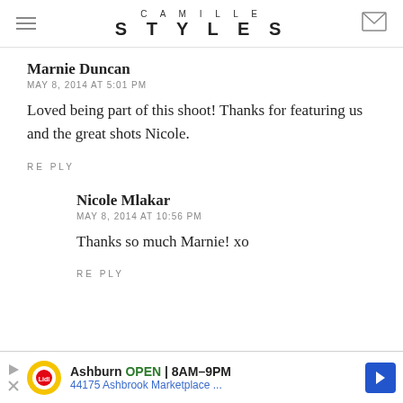CAMILLE STYLES
Marnie Duncan
MAY 8, 2014 AT 5:01 PM
Loved being part of this shoot! Thanks for featuring us and the great shots Nicole.
REPLY
Nicole Mlakar
MAY 8, 2014 AT 10:56 PM
Thanks so much Marnie! xo
REPLY
Ashburn OPEN 8AM–9PM 44175 Ashbrook Marketplace ...